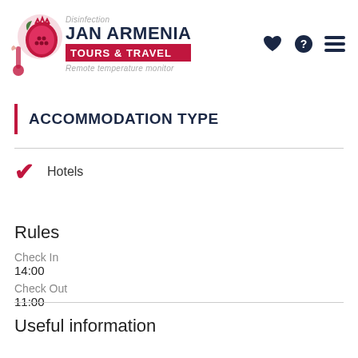[Figure (logo): Jan Armenia Tours & Travel logo with pomegranate icon, thermometer illustration, 'Disinfection' and 'Remote temperature monitor' text]
ACCOMMODATION TYPE
Hotels
Rules
Check In
14:00
Check Out
11:00
Useful information